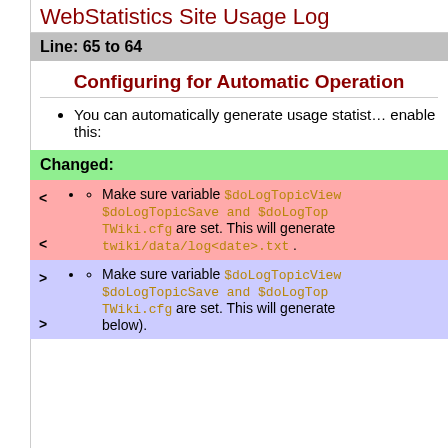WebStatistics Site Usage Log
Line: 65 to 64
Configuring for Automatic Operation
You can automatically generate usage statistics. enable this:
Changed:
< Make sure variable $doLogTopicView, $doLogTopicSave and $doLogTop... TWiki.cfg are set. This will generate twiki/data/log<date>.txt .
> Make sure variable $doLogTopicView, $doLogTopicSave and $doLogTop... TWiki.cfg are set. This will generate below).